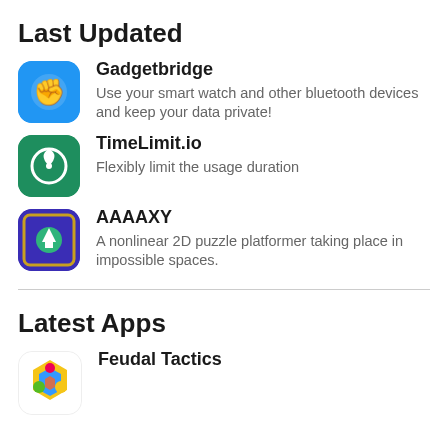Last Updated
Gadgetbridge — Use your smart watch and other bluetooth devices and keep your data private!
TimeLimit.io — Flexibly limit the usage duration
AAAAXY — A nonlinear 2D puzzle platformer taking place in impossible spaces.
Latest Apps
Feudal Tactics